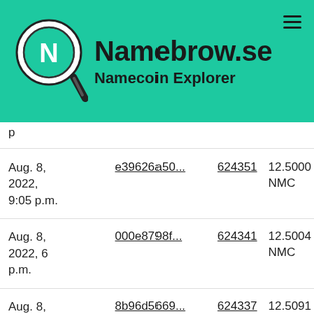Namebrow.se - Namecoin Explorer
| Date | Transaction | Block | Amount |
| --- | --- | --- | --- |
| Aug. 8, 2022, 9:05 p.m. | e39626a50... | 624351 | 12.5000 NMC |
| Aug. 8, 2022, 6 p.m. | 000e8798f... | 624341 | 12.5004 NMC |
| Aug. 8, 2022, 5:34 p.m. | 8b96d5669... | 624337 | 12.5091 NMC |
| Aug. 8, 2022, 9:55 (partial) | 720cd19b9... | 624328 | 12.5056 NMC |